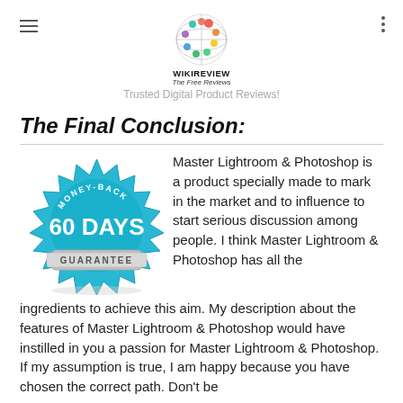WIKIREVIEW The Free Reviews — Trusted Digital Product Reviews!
The Final Conclusion:
[Figure (illustration): 60 Days Money-Back Guarantee badge — a blue starburst seal with '60 DAYS' in large white text, 'MONEY-BACK' arched at the top, and 'GUARANTEE' on a silver banner at the bottom.]
Master Lightroom & Photoshop is a product specially made to mark in the market and to influence to start serious discussion among people. I think Master Lightroom & Photoshop has all the ingredients to achieve this aim. My description about the features of Master Lightroom & Photoshop would have instilled in you a passion for Master Lightroom & Photoshop. If my assumption is true, I am happy because you have chosen the correct path. Don't be